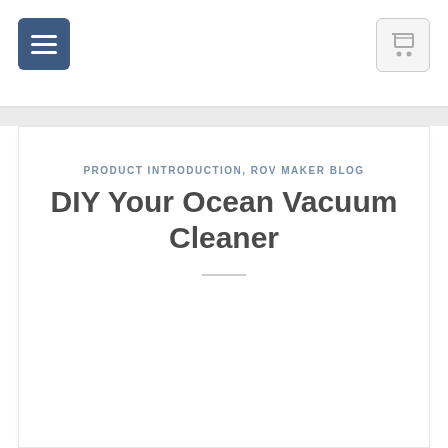Navigation bar with menu button and cart button
PRODUCT INTRODUCTION, ROV MAKER BLOG
DIY Your Ocean Vacuum Cleaner